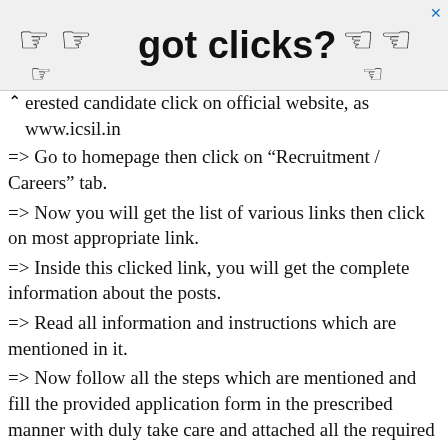[Figure (other): Advertisement banner with pointing hand emoji icons and text 'got clicks?']
erested candidate click on official website, as www.icsil.in
=> Go to homepage then click on “Recruitment / Careers” tab.
=> Now you will get the list of various links then click on most appropriate link.
=> Inside this clicked link, you will get the complete information about the posts.
=> Read all information and instructions which are mentioned in it.
=> Now follow all the steps which are mentioned and fill the provided application form in the prescribed manner with duly take care and attached all the required documents.
=> Candidate must attached their colored passport size photograph /certificates/ signature and other required documents, if required.
=> All documents and certificate should be intelligible.
=> Once the application form filled successfully,